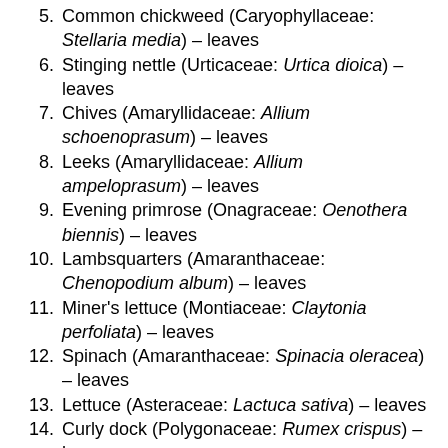5. Common chickweed (Caryophyllaceae: Stellaria media) – leaves
6. Stinging nettle (Urticaceae: Urtica dioica) – leaves
7. Chives (Amaryllidaceae: Allium schoenoprasum) – leaves
8. Leeks (Amaryllidaceae: Allium ampeloprasum) – leaves
9. Evening primrose (Onagraceae: Oenothera biennis) – leaves
10. Lambsquarters (Amaranthaceae: Chenopodium album) – leaves
11. Miner's lettuce (Montiaceae: Claytonia perfoliata) – leaves
12. Spinach (Amaranthaceae: Spinacia oleracea) – leaves
13. Lettuce (Asteraceae: Lactuca sativa) – leaves
14. Curly dock (Polygonaceae: Rumex crispus) – leaves
15. Common wood sorrel (Oxalidaceae: Oxalis stricta)